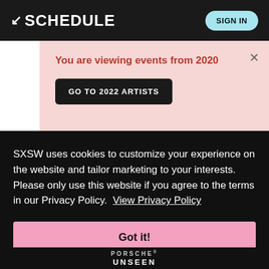↙ SCHEDULE   SIGN IN
You are viewing events from 2020
GO TO 2022 ARTISTS
SXSW uses cookies to customize your experience on the website and tailor marketing to your interests. Please only use this website if you agree to the terms in our Privacy Policy. View Privacy Policy
Got it!
[Figure (logo): PORSCHE logo text and partial UNSEEN text at bottom]